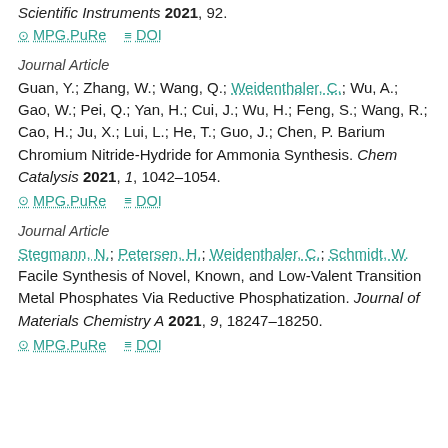Scientific Instruments 2021, 92.
⊙ MPG.PuRe   ≡ DOI
Journal Article
Guan, Y.; Zhang, W.; Wang, Q.; Weidenthaler, C.; Wu, A.; Gao, W.; Pei, Q.; Yan, H.; Cui, J.; Wu, H.; Feng, S.; Wang, R.; Cao, H.; Ju, X.; Lui, L.; He, T.; Guo, J.; Chen, P. Barium Chromium Nitride-Hydride for Ammonia Synthesis. Chem Catalysis 2021, 1, 1042–1054.
⊙ MPG.PuRe   ≡ DOI
Journal Article
Stegmann, N.; Petersen, H.; Weidenthaler, C.; Schmidt, W. Facile Synthesis of Novel, Known, and Low-Valent Transition Metal Phosphates Via Reductive Phosphatization. Journal of Materials Chemistry A 2021, 9, 18247–18250.
⊙ MPG.PuRe   ≡ DOI